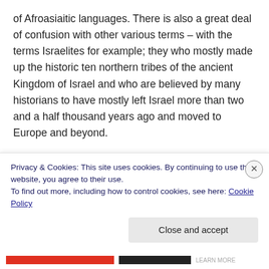of Afroasiaitic languages. There is also a great deal of confusion with other various terms – with the terms Israelites for example; they who mostly made up the historic ten northern tribes of the ancient Kingdom of Israel and who are believed by many historians to have mostly left Israel more than two and a half thousand years ago and moved to Europe and beyond.
'Israelites' is often wrongly confused with 'Israelis' and 'Jewish' but they all mean very different things. The term 'Jewish' comes from Judea / Judah – Judea being one of
Privacy & Cookies: This site uses cookies. By continuing to use this website, you agree to their use.
To find out more, including how to control cookies, see here: Cookie Policy